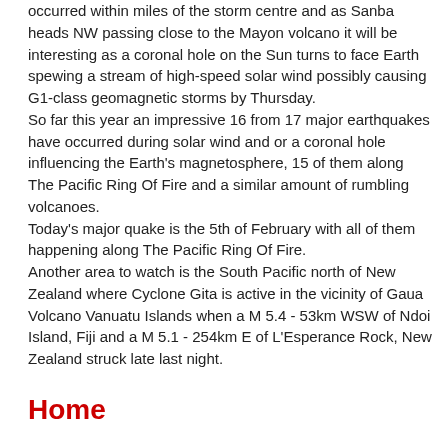occurred within miles of the storm centre and as Sanba heads NW passing close to the Mayon volcano it will be interesting as a coronal hole on the Sun turns to face Earth spewing a stream of high-speed solar wind possibly causing G1-class geomagnetic storms by Thursday.
So far this year an impressive 16 from 17 major earthquakes have occurred during solar wind and or a coronal hole influencing the Earth's magnetosphere, 15 of them along The Pacific Ring Of Fire and a similar amount of rumbling volcanoes.
Today's major quake is the 5th of February with all of them happening along The Pacific Ring Of Fire.
Another area to watch is the South Pacific north of New Zealand where Cyclone Gita is active in the vicinity of Gaua Volcano Vanuatu Islands when a M 5.4 - 53km WSW of Ndoi Island, Fiji and a M 5.1 - 254km E of L'Esperance Rock, New Zealand struck late last night.
Home